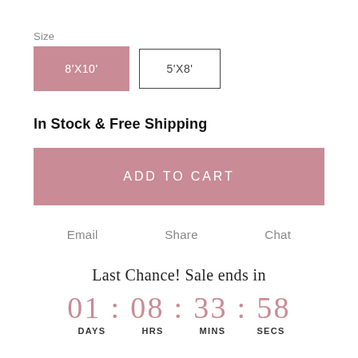Size
8'X10' (selected), 5'X8'
In Stock & Free Shipping
ADD TO CART
Email   Share   Chat
Last Chance! Sale ends in
01 : 08 : 33 : 58
DAYS   HRS   MINS   SECS